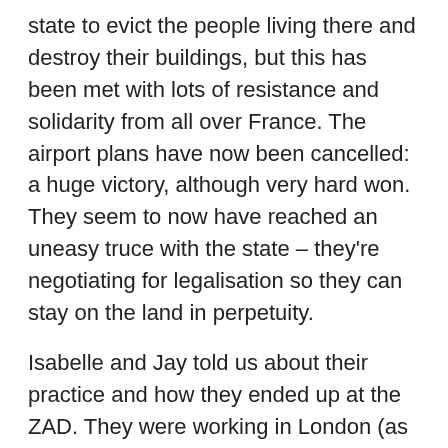state to evict the people living there and destroy their buildings, but this has been met with lots of resistance and solidarity from all over France. The airport plans have now been cancelled: a huge victory, although very hard won. They seem to now have reached an uneasy truce with the state – they're negotiating for legalisation so they can stay on the land in perpetuity.
Isabelle and Jay told us about their practice and how they ended up at the ZAD. They were working in London (as academics, I think) and doing their art and activism on the side. They don't see art and activism as two separate things. In their practice, they worked with both, in a participatory and pedagogical way.
At some point, they realised that they couldn't live in the city any longer. They felt that cities are designed to keep us all divided from each other. They quit their jobs and travelled around Europe for a while, visiting communities and co-living projects throughout.